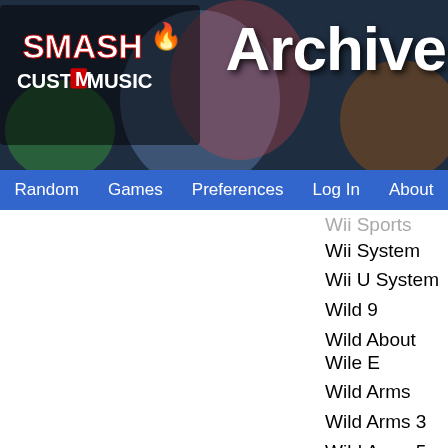[Figure (screenshot): Smash Custom Music website header banner with game characters (Mario, Link, Donkey Kong, Luigi) and site logo on left, 'Archive' text on right]
Random | Games | Preferences | Log In | About
Wii Sports Resort Tools
Wii System
Wii U System
Wild 9
Wild About Wile E
Wild Arms
Wild Arms 3
Wild Arms 5
Wild Arms Advanced 3rd
Wild Arms Alter Code-F
Wild Arms: 2nd Ignition
Wild Guns
Wild West C.O.W.-Boys of Moo Mesa
Wild Woody
Windjammers - Flying Power Disc
Wipeout Pure